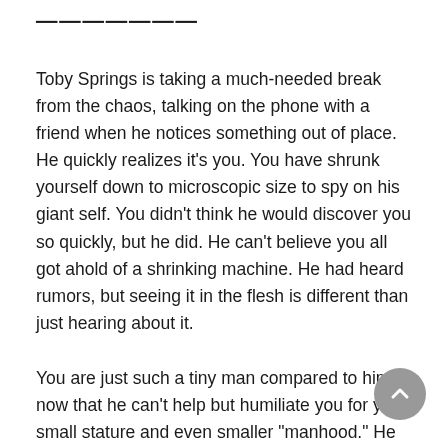...
Toby Springs is taking a much-needed break from the chaos, talking on the phone with a friend when he notices something out of place. He quickly realizes it's you. You have shrunk yourself down to microscopic size to spy on his giant self. You didn't think he would discover you so quickly, but he did. He can't believe you all got ahold of a shrinking machine. He had heard rumors, but seeing it in the flesh is different than just hearing about it.
You are just such a tiny man compared to him now that he can't help but humiliate you for your small stature and even smaller "manhood." He notices that you're staring at